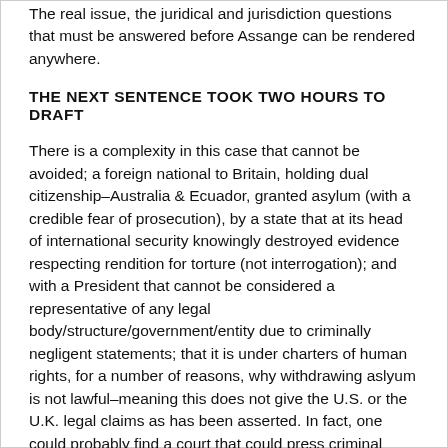The real issue, the juridical and jurisdiction questions that must be answered before Assange can be rendered anywhere.
THE NEXT SENTENCE TOOK TWO HOURS TO DRAFT
There is a complexity in this case that cannot be avoided; a foreign national to Britain, holding dual citizenship–Australia & Ecuador, granted asylum (with a credible fear of prosecution), by a state that at its head of international security knowingly destroyed evidence respecting rendition for torture (not interrogation); and with a President that cannot be considered a representative of any legal body/structure/government/entity due to criminally negligent statements; that it is under charters of human rights, for a number of reasons, why withdrawing aslyum is not lawful–meaning this does not give the U.S. or the U.K. legal claims as has been asserted. In fact, one could probably find a court that could press criminal negliegence and judicial malpractice given actions Lenin and the Ecuadorian government. Ecuadorian courts do have a role in weighing in on this issue, and the peoples of Ecuador seem capable of making those demands a reality.